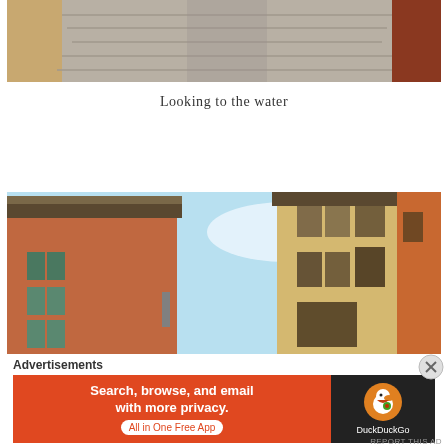[Figure (photo): Top portion of a photo showing stone steps viewed from below, with warm yellow/beige walls on the sides]
Looking to the water
[Figure (photo): Photo looking up at Italian-style buildings with terracotta/orange facades, wooden shutters, rooflines with eaves against a blue sky]
Advertisements
[Figure (screenshot): DuckDuckGo advertisement banner: orange left side with text 'Search, browse, and email with more privacy. All in One Free App', dark right side with DuckDuckGo duck logo]